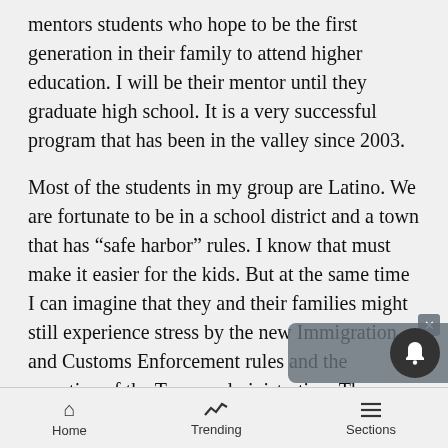mentors students who hope to be the first generation in their family to attend higher education. I will be their mentor until they graduate high school. It is a very successful program that has been in the valley since 2003.
Most of the students in my group are Latino. We are fortunate to be in a school district and a town that has “safe harbor” rules. I know that must make it easier for the kids. But at the same time I can imagine that they and their families might still experience stress by the new Immigration and Customs Enforcement rules and the narrative of the Trump administration. These students may never know when everything they have known will change. Getting into college may be the least of their problems.
Home   Trending   Sections